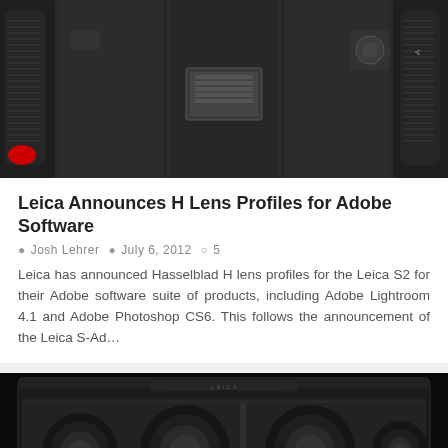[Figure (photo): Top-down view of a Leica camera body in dark/black color, showing top plate with hot shoe and controls]
Leica Announces H Lens Profiles for Adobe Software
Josh Lehrer  July 6, 2012  5
Leica has announced Hasselblad H lens profiles for the Leica S2 for their Adobe software suite of products, including Adobe Lightroom 4.1 and Adobe Photoshop CS6. This follows the announcement of the Leica S-Ad…
[Figure (photo): Black hard case open showing Leica lenses with caps, arranged in foam cutouts inside the case]